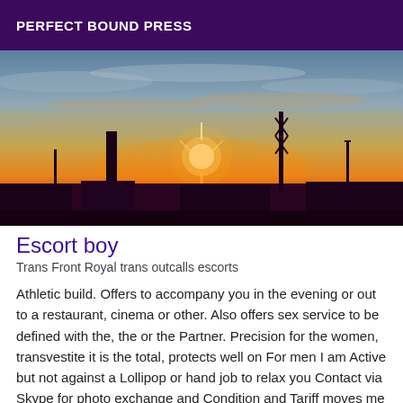PERFECT BOUND PRESS
[Figure (photo): Outdoor sunset/sunrise photograph showing silhouettes of industrial structures, poles, and low buildings against a vivid orange and golden sky with layered clouds.]
Escort boy
Trans Front Royal trans outcalls escorts
Athletic build. Offers to accompany you in the evening or out to a restaurant, cinema or other. Also offers sex service to be defined with the, the or the Partner. Precision for the women, transvestite it is the total, protects well on For men I am Active but not against a Lollipop or hand job to relax you Contact via Skype for photo exchange and Condition and Tariff moves me unique